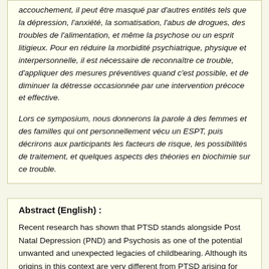accouchement, il peut être masqué par d'autres entités tels que la dépression, l'anxiété, la somatisation, l'abus de drogues, des troubles de l'alimentation, et même la psychose ou un esprit litigieux. Pour en réduire la morbidité psychiatrique, physique et interpersonnelle, il est nécessaire de reconnaître ce trouble, d'appliquer des mesures préventives quand c'est possible, et de diminuer la détresse occasionnée par une intervention précoce et effective.
Lors ce symposium, nous donnerons la parole à des femmes et des familles qui ont personnellement vécu un ESPT, puis décrirons aux participants les facteurs de risque, les possibilités de traitement, et quelques aspects des théories en biochimie sur ce trouble.
Abstract (English) :
Recent research has shown that PTSD stands alongside Post Natal Depression (PND) and Psychosis as one of the potential unwanted and unexpected legacies of childbearing. Although its origins in this context are very different from PTSD arising for example from combat scenarios, the same basic set of triggers, reactions and attitudes is evident.
The outcomes and effects on the mothers' quality of life differ characteristically from those of PND, with the PTSD associated...